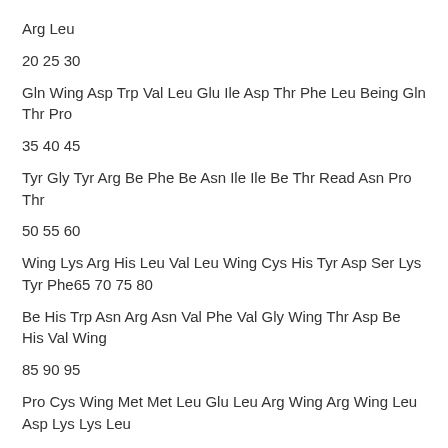Arg Leu
20 25 30
Gln Wing Asp Trp Val Leu Glu Ile Asp Thr Phe Leu Being Gln Thr Pro
35 40 45
Tyr Gly Tyr Arg Be Phe Be Asn Ile Ile Be Thr Read Asn Pro Thr
50 55 60
Wing Lys Arg His Leu Val Leu Wing Cys His Tyr Asp Ser Lys Tyr Phe65 70 75 80
Be His Trp Asn Arg Asn Val Phe Val Gly Wing Thr Asp Be His Val Wing
85 90 95
Pro Cys Wing Met Met Leu Glu Leu Arg Wing Arg Wing Leu Asp Lys Lys Leu
100 105 110